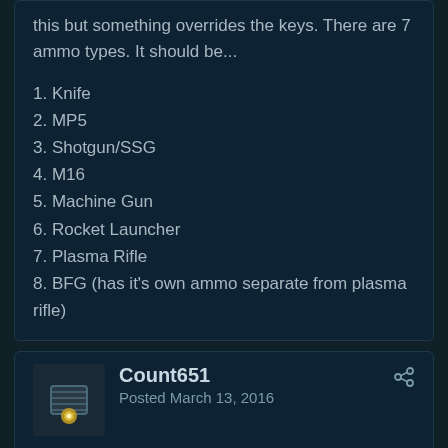this but something overrides the keys. There are 7 ammo types. It should be...
1. Knife
2. MP5
3. Shotgun/SSG
4. M16
5. Machine Gun
6. Rocket Launcher
7. Plasma Rifle
8. BFG (has it's own ammo separate from plasma rifle)
Count651
Posted March 13, 2016
Just finished the wad. My overall opinion of it was really good although there were a few problems. I really liked the final map and its intermission text, I thought it was pretty creative.
The red keys would not lower after hitting the switches on Resupply and Prototype Colony. I spent several minutes looking around for